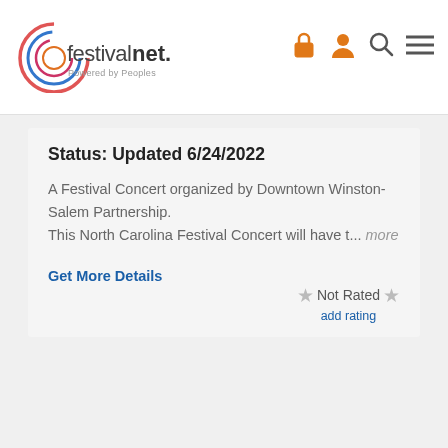festivalnet. Powered by Peoples
Status: Updated 6/24/2022
A Festival Concert organized by Downtown Winston-Salem Partnership.
This North Carolina Festival Concert will have t... more
Get More Details
Not Rated
add rating